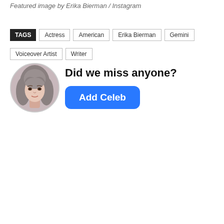Featured image by Erika Bierman / Instagram
TAGS  Actress  American  Erika Bierman  Gemini  Voiceover Artist  Writer
[Figure (photo): Circular profile photo of a young woman with long wavy gray-brown hair]
Did we miss anyone?
Add Celeb